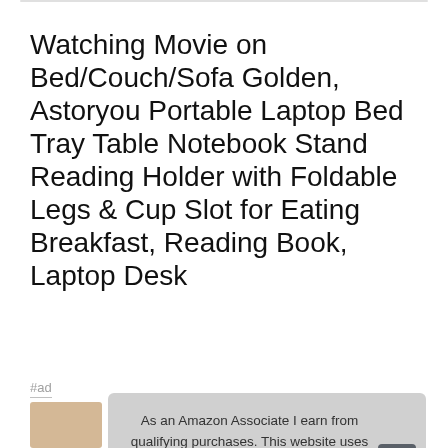Watching Movie on Bed/Couch/Sofa Golden, Astoryou Portable Laptop Bed Tray Table Notebook Stand Reading Holder with Foldable Legs & Cup Slot for Eating Breakfast, Reading Book, Laptop Desk
#ad
As an Amazon Associate I earn from qualifying purchases. This website uses the only necessary cookies to ensure you get the best experience on our website. More information